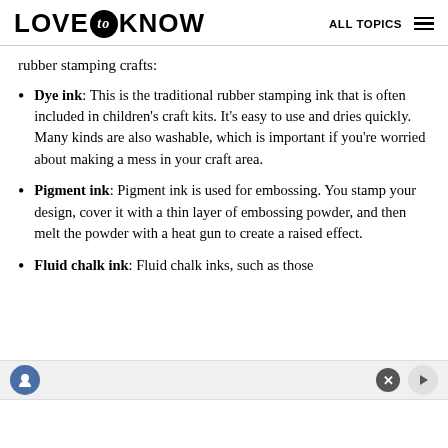LOVE to KNOW   ALL TOPICS
rubber stamping crafts:
Dye ink: This is the traditional rubber stamping ink that is often included in children's craft kits. It's easy to use and dries quickly. Many kinds are also washable, which is important if you're worried about making a mess in your craft area.
Pigment ink: Pigment ink is used for embossing. You stamp your design, cover it with a thin layer of embossing powder, and then melt the powder with a heat gun to create a raised effect.
Fluid chalk ink: Fluid chalk inks, such as those